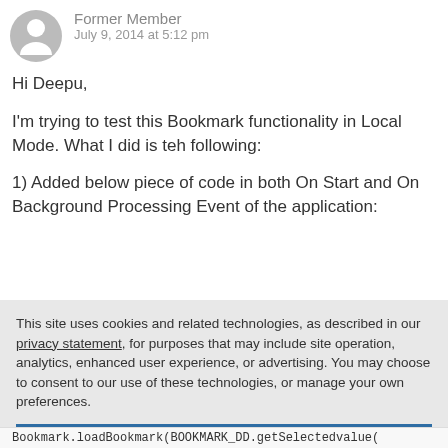Former Member
July 9, 2014 at 5:12 pm
Hi Deepu,
I'm trying to test this Bookmark functionality in Local Mode. What I did is teh following:
1) Added below piece of code in both On Start and On Background Processing Event of the application:
This site uses cookies and related technologies, as described in our privacy statement, for purposes that may include site operation, analytics, enhanced user experience, or advertising. You may choose to consent to our use of these technologies, or manage your own preferences.
Accept Cookies
More Information
Privacy Policy | Powered by: TrustArc
Bookmark.loadBookmark(BOOKMARK_DD.getSelectedvalue(